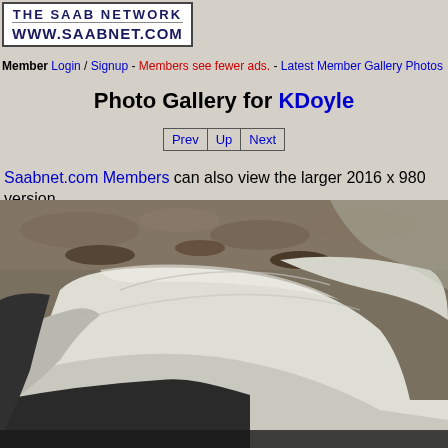[Figure (logo): The Saab Network logo with text 'THE SAAB NETWORK' and 'WWW.SAABNET.COM' in a white bordered box]
Member Login / Signup - Members see fewer ads. - Latest Member Gallery Photos
Photo Gallery for KDoyle
Prev Up Next (navigation buttons)
Saabnet.com Members can also view the larger 2016 x 980 version
[Figure (photo): Interior photo of a Saab car showing light beige/cream leather seats with dark trim, viewed from inside the car looking toward the passenger seat area. Rocky ground visible through the window.]